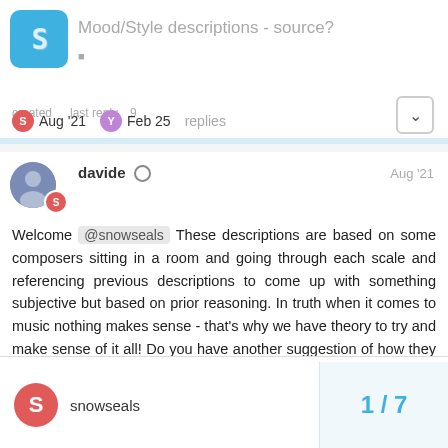Mood/Style descriptions - source?
Aug '21  Feb 25  replies
davide  Aug '21
Welcome @snowseals These descriptions are based on some composers sitting in a room and going through each scale and referencing previous descriptions to come up with something subjective but based on prior reasoning. In truth when it comes to music nothing makes sense - that's why we have theory to try and make sense of it all! Do you have another suggestion of how they should be labelled?
2
snowseals  1 / 7